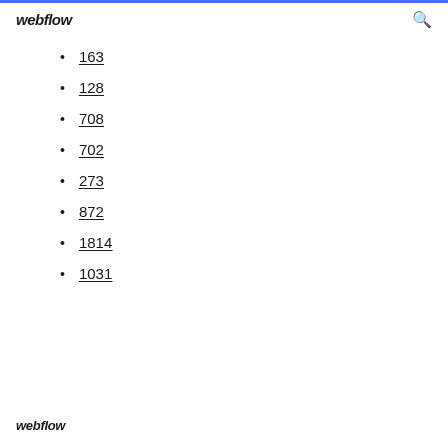webflow
163
128
708
702
273
872
1814
1031
webflow